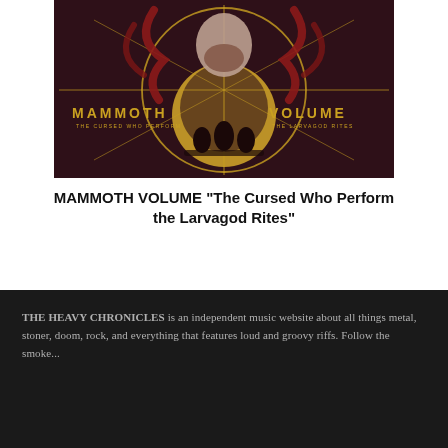[Figure (illustration): Album cover art for Mammoth Volume 'The Cursed Who Perform the Larvagod Rites' — dark red/maroon background with illustrated skull, horns, and hooded figures around a glowing yellow circle, with gold text reading MAMMOTH and VOLUME]
MAMMOTH VOLUME "The Cursed Who Perform the Larvagod Rites"
THE HEAVY CHRONICLES is an independent music website about all things metal, stoner, doom, rock, and everything that features loud and groovy riffs. Follow the smoke...